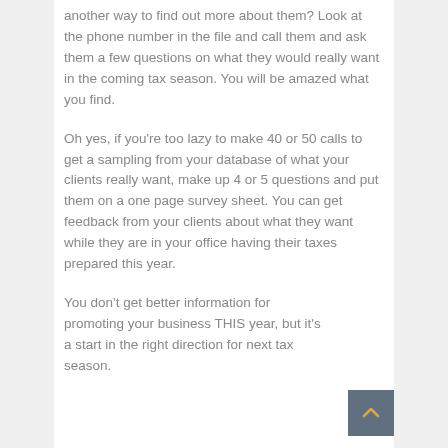another way to find out more about them? Look at the phone number in the file and call them and ask them a few questions on what they would really want in the coming tax season. You will be amazed what you find.
Oh yes, if you're too lazy to make 40 or 50 calls to get a sampling from your database of what your clients really want, make up 4 or 5 questions and put them on a one page survey sheet. You can get feedback from your clients about what they want while they are in your office having their taxes prepared this year.
You don't get better information for promoting your business THIS year, but it's a start in the right direction for next tax season.